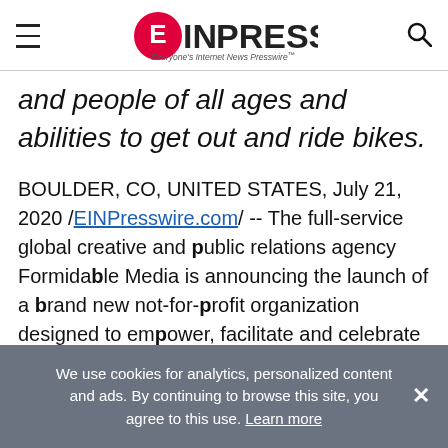EINPresswire — Everyone's Internet News Presswire
and people of all ages and abilities to get out and ride bikes.
BOULDER, CO, UNITED STATES, July 21, 2020 /EINPresswire.com/ -- The full-service global creative and public relations agency Formidable Media is announcing the launch of a brand new not-for-profit organization designed to empower, facilitate and celebrate life outdoors, with the bicycle as their guiding vehicle and inspiration.
We use cookies for analytics, personalized content and ads. By continuing to browse this site, you agree to this use. Learn more